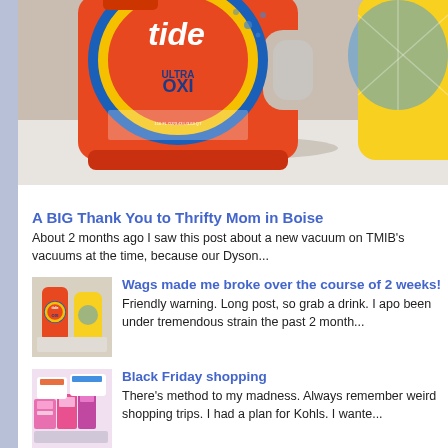[Figure (photo): Close-up photograph of Tide Ultra OXI laundry detergent bottle (orange) and a yellow laundry detergent bottle on a white surface.]
A BIG Thank You to Thrifty Mom in Boise
About 2 months ago I saw this post about a new vacuum on TMIB's vacuums at the time, because our Dyson...
[Figure (photo): Thumbnail image of Tide OXI and yellow Tide laundry detergent bottles.]
Wags made me broke over the course of 2 weeks!
Friendly warning. Long post, so grab a drink.  I apo been under tremendous strain the past 2 month...
[Figure (photo): Thumbnail image of Black Friday shopping items including colorful packaged products.]
Black Friday shopping
There's method to my madness. Always remember weird shopping trips. I had a plan for Kohls. I wante...